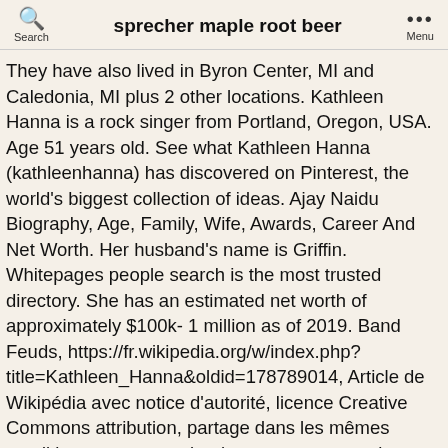sprecher maple root beer
They have also lived in Byron Center, MI and Caledonia, MI plus 2 other locations. Kathleen Hanna is a rock singer from Portland, Oregon, USA. Age 51 years old. See what Kathleen Hanna (kathleenhanna) has discovered on Pinterest, the world's biggest collection of ideas. Ajay Naidu Biography, Age, Family, Wife, Awards, Career And Net Worth. Her husband's name is Griffin. Whitepages people search is the most trusted directory. She has an estimated net worth of approximately $100k- 1 million as of 2019. Band Feuds, https://fr.wikipedia.org/w/index.php?title=Kathleen_Hanna&oldid=178789014, Article de Wikipédia avec notice d'autorité, licence Creative Commons attribution, partage dans les mêmes conditions, comment citer les auteurs et mentionner la licence. She spoke Ukrainian as her first language and did not begin speaking English until she was eight years old. Join Facebook to connect with Kathaleen Hanna and others you may know. Kathleen Hanna (Portland, Oregon, Estados Unidos, 12 de noviembre de 1968), es una